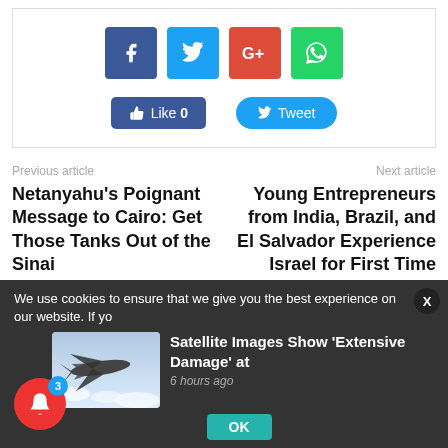[Figure (screenshot): Social sharing buttons: Facebook (blue), Twitter (light blue), Google+ (red), WhatsApp (green), plus Like 0 and Tweet action buttons]
Previous article
Next article
Netanyahu's Poignant Message to Cairo: Get Those Tanks Out of the Sinai
Young Entrepreneurs from India, Brazil, and El Salvador Experience Israel for First Time
We use cookies to ensure that we give you the best experience on our website. If yo
[Figure (photo): Fighter jet / stealth aircraft flying above clouds]
Satellite Images Show 'Extensive Damage' at
6 hours ago